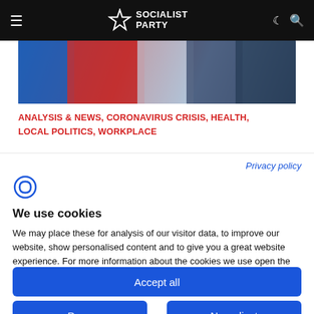Socialist Party
[Figure (photo): Partial photo strip showing people in coloured jackets (blue, red, grey, navy)]
ANALYSIS & NEWS, CORONAVIRUS CRISIS, HEALTH, LOCAL POLITICS, WORKPLACE
Privacy policy
We use cookies
We may place these for analysis of our visitor data, to improve our website, show personalised content and to give you a great website experience. For more information about the cookies we use open the settings.
Accept all
Deny
No, adjust